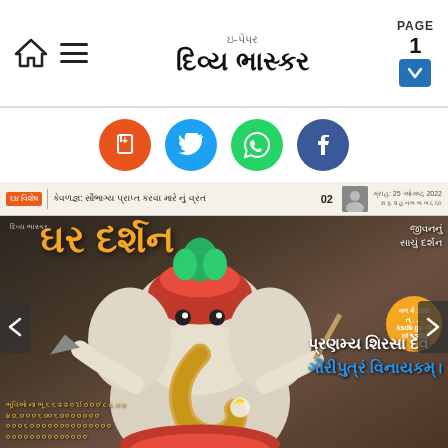ઇ-પેપર દિવ્ય ભાસ્કર | PAGE 1
[Figure (screenshot): Social media icons row: bookmark (orange), Twitter (blue), WhatsApp (green), Facebook (blue)]
[Figure (photo): Divya Bhaskar e-paper front page showing Ghar Darshan magazine cover with Lord Ganesha illustration, orange Gujarati title text, Sanskrit verse 'Pranamy Shirsa Devam Gauri Putram Vinayakma', dated 25 August 2022]